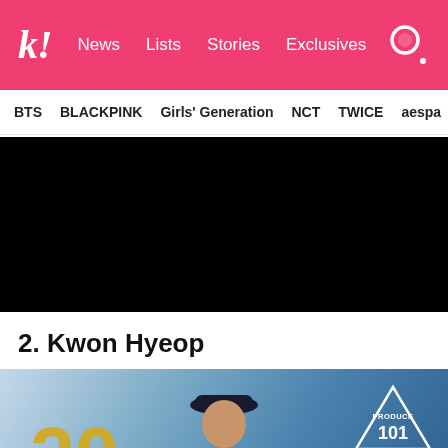k! News Lists Stories Exclusives
BTS BLACKPINK Girls' Generation NCT TWICE aespa
[Figure (photo): Black video/image placeholder block]
2. Kwon Hyeop
[Figure (photo): Photo of Kwon Hyeop with Produce 101 logo, blue background with '20' in yellow]